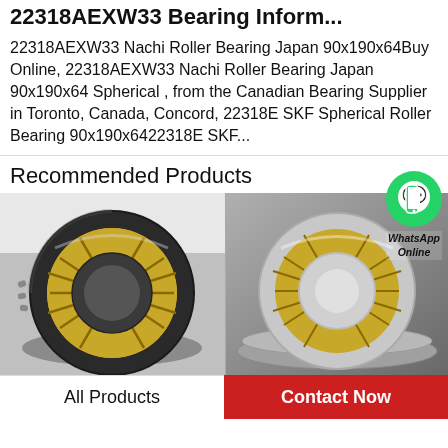22318AEXW33 Bearing Information
22318AEXW33 Nachi Roller Bearing Japan 90x190x64Buy Online, 22318AEXW33 Nachi Roller Bearing Japan 90x190x64 Spherical , from the Canadian Bearing Supplier in Toronto, Canada, Concord,  22318E SKF Spherical Roller Bearing 90x190x6422318E SKF...
Recommended Products
[Figure (photo): Spherical roller bearing with gold/brass cage, black outer ring, shown on white background]
[Figure (photo): Spherical roller bearing with gold/brass cage and silver rings, shown on grey background, with WhatsApp Online chat bubble overlay]
All Products
Contact Now